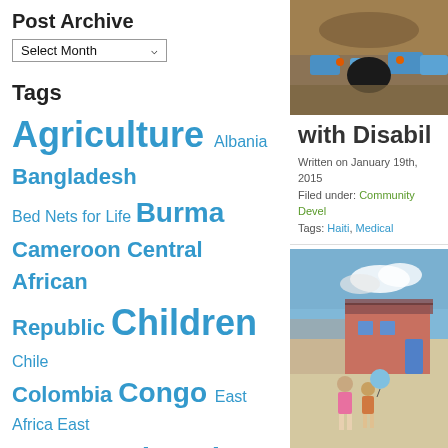Post Archive
Select Month
Tags
Agriculture Albania Bangladesh Bed Nets for Life Burma Cameroon Central African Republic Children Chile Colombia Congo East Africa East Asia Ecuador Education Ethiopia FRB Haiti HIV/AIDS Honduras Human Trafficking India Japan Justice Kenya Kyrgyzstan Libya Medical Mexico Micro-enterprise Micro-finance Nepal Pakistan Philippines Refugee
[Figure (photo): Children in a classroom setting, top-down view showing blue objects on desks]
with Disabil
Written on January 19th, 2015
Filed under: Community Devel
Tags: Haiti, Medical
[Figure (photo): Children standing outside a small building in Haiti, sandy ground visible]